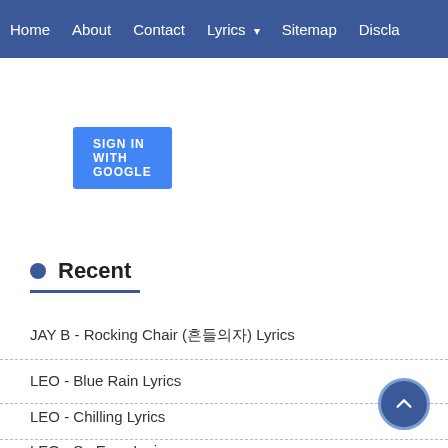Home  About  Contact  Lyrics  Sitemap  Discla...
[Figure (screenshot): Sign in with Google button (partially visible), blue button]
Recent
JAY B - Rocking Chair (흔들의자) Lyrics
LEO - Blue Rain Lyrics
LEO - Chilling Lyrics
LEO - So Easy Lyrics